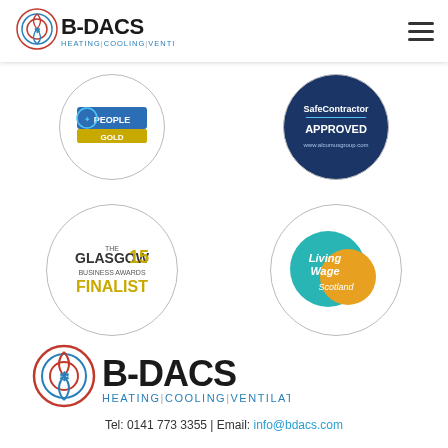B-DACS HEATING | COOLING | VENTILATION
[Figure (logo): Chas People Gold accreditation badge - circular badge partially cropped]
[Figure (logo): SafeContractor Approved badge - dark blue pentagon/shield shape]
[Figure (logo): The Glasgow Business Awards 15 Finalist badge - circle with gold text]
[Figure (logo): Living Wage Scotland badge - teal and orange circle logo]
[Figure (logo): B-DACS HEATING | COOLING | VENTILATION footer logo]
Tel: 0141 773 3355 | Email: info@bdacs.com